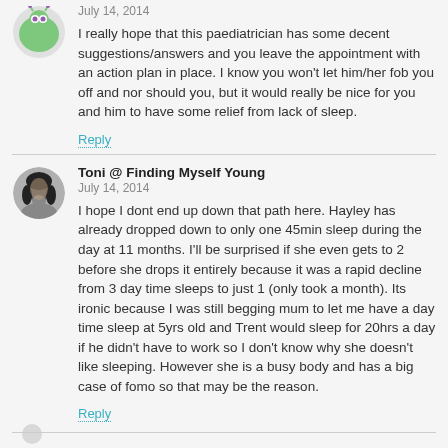July 14, 2014
I really hope that this paediatrician has some decent suggestions/answers and you leave the appointment with an action plan in place. I know you won't let him/her fob you off and nor should you, but it would really be nice for you and him to have some relief from lack of sleep.
Reply
Toni @ Finding Myself Young
July 14, 2014
I hope I dont end up down that path here. Hayley has already dropped down to only one 45min sleep during the day at 11 months. I'll be surprised if she even gets to 2 before she drops it entirely because it was a rapid decline from 3 day time sleeps to just 1 (only took a month). Its ironic because I was still begging mum to let me have a day time sleep at 5yrs old and Trent would sleep for 20hrs a day if he didn't have to work so I don't know why she doesn't like sleeping. However she is a busy body and has a big case of fomo so that may be the reason.
Reply